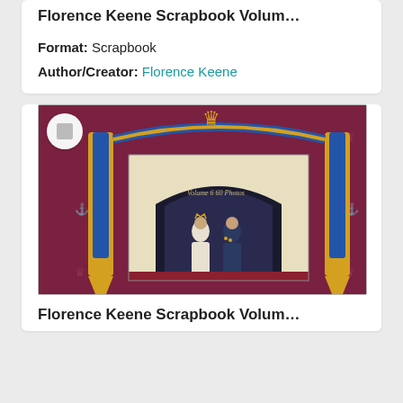Florence Keene Scrapbook Volum…
Format: Scrapbook
Author/Creator: Florence Keene
[Figure (photo): Scrapbook cover showing royal couple (man in military uniform, woman in white gown) standing under a decorated arch with gold crown and blue drapery on a dark red background with crown motifs. Text on arch reads 'Volume 6 60 Photos'.]
Florence Keene Scrapbook Volum…